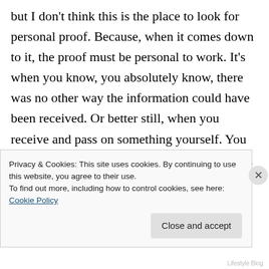but I don't think this is the place to look for personal proof. Because, when it comes down to it, the proof must be personal to work. It's when you know, you absolutely know, there was no other way the information could have been received. Or better still, when you receive and pass on something yourself. You have to be psychic for that to work, of course, and even psychics doubt their own abilities. But sometimes you are spot on accurate and you KNOW you didn't know that. You couldn't have
Privacy & Cookies: This site uses cookies. By continuing to use this website, you agree to their use.
To find out more, including how to control cookies, see here: Cookie Policy